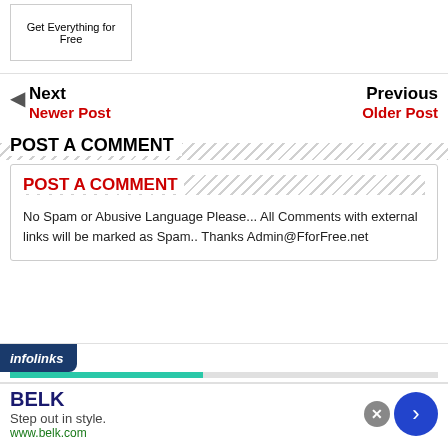[Figure (illustration): Small box with handwritten-style text 'Get Everything for Free']
Next / Newer Post (left nav) | Previous / Older Post (right nav)
POST A COMMENT
POST A COMMENT
No Spam or Abusive Language Please... All Comments with external links will be marked as Spam.. Thanks Admin@FforFree.net
[Figure (other): infolinks advertisement bar with BELK ad: 'Step out in style. www.belk.com']